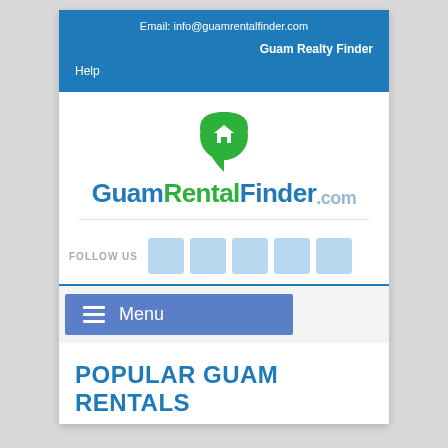Email: info@guamrentalfinder.com
Guam Realty Finder
Help
[Figure (logo): GuamRentalFinder.com logo with green map pin icon and blue/green text]
FOLLOW US
Menu
POPULAR GUAM RENTALS